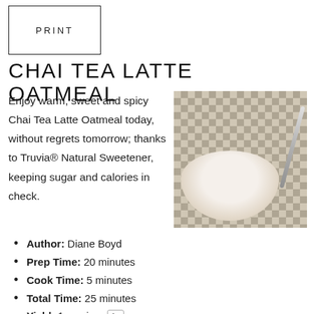PRINT
CHAI TEA LATTE OATMEAL
Enjoy warm, sweet and spicy Chai Tea Latte Oatmeal today, without regrets tomorrow; thanks to Truvia® Natural Sweetener, keeping sugar and calories in check.
[Figure (photo): Bowl of chai tea latte oatmeal with spoon on a checkered background]
Author: Diane Boyd
Prep Time: 20 minutes
Cook Time: 5 minutes
Total Time: 25 minutes
Yield: 1 serving 1x